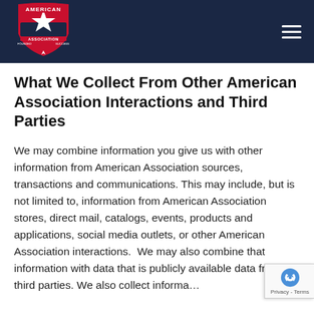[Figure (logo): American Association logo with red shield, white star, and blue/red banner on dark navy header bar]
What We Collect From Other American Association Interactions and Third Parties
We may combine information you give us with other information from American Association sources, transactions and communications. This may include, but is not limited to, information from American Association stores, direct mail, catalogs, events, products and applications, social media outlets, or other American Association interactions.  We may also combine that information with data that is publicly available data from third parties. We also collect informa... ...tions...